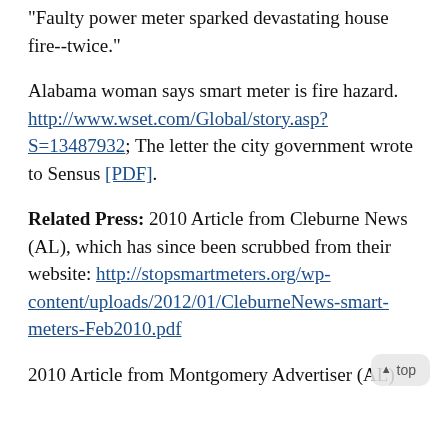"Faulty power meter sparked devastating house fire--twice."
Alabama woman says smart meter is fire hazard. http://www.wset.com/Global/story.asp?S=13487932; The letter the city government wrote to Sensus [PDF].
Related Press: 2010 Article from Cleburne News (AL), which has since been scrubbed from their website: http://stopsmartmeters.org/wp-content/uploads/2012/01/CleburneNews-smart-meters-Feb2010.pdf
2010 Article from Montgomery Advertiser (AL)